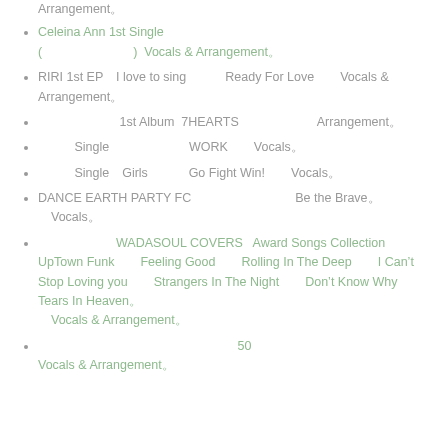Arrangement。
Celeina Ann 1st Single「トキメキメの色彩を超えて」 (produced by 和田永児) Vocals & Arrangement。
RIRI 1st EP「 I love to sing」内「Ready For Love」　Vocals & Arrangement。
和田永児 1st Album 7HEARTS内「ヒクイ・リウリウ」 Arrangement。
女子 Single内「あの夏」 WORK内 Vocals。
女子 Single「Girls」 内 Go Fight Win!内 Vocals。
DANCE EARTH PARTY FC限定「ルンルン」 Be the Brave。内 Vocals。
和田永児WADASOUL COVERS 『Award Songs Collection』内 UpTown Funk　Feeling Good　Rolling In The Deep　I Can’t Stop Loving you　Strangers In The Night　Don’t Know Why　Tears In Heaven。内 Vocals & Arrangement。
和田永児 デビュー50周年 オールティメズベスト Vocals & Arrangement。